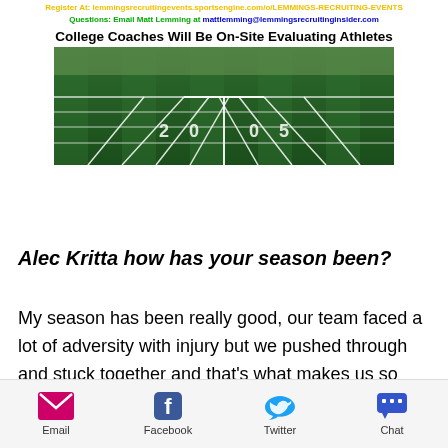Register At: lemmingsrecruitingevents.sportsengine.com/o/LEMMINGS-RECRUITING-EVENTS
Questions: Email Matt Lemming at mattlemming@lemmingsrecruitinginsider.com
College Coaches Will Be On-Site Evaluating Athletes
[Figure (photo): Aerial view of a green football field with white yard line markings]
Alec Kritta how has your season been?
My season has been really good, our team faced a lot of adversity with injury but we pushed through and stuck together and that's what makes us so successful,
Email   Facebook   Twitter   Chat